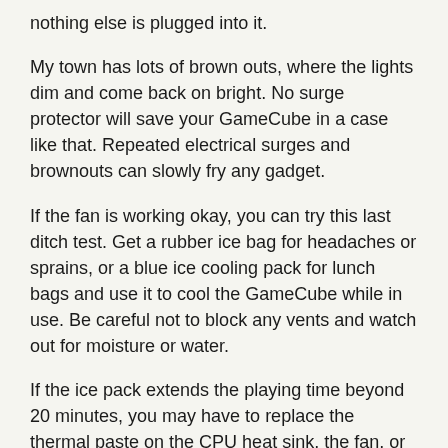nothing else is plugged into it.
My town has lots of brown outs, where the lights dim and come back on bright. No surge protector will save your GameCube in a case like that. Repeated electrical surges and brownouts can slowly fry any gadget.
If the fan is working okay, you can try this last ditch test. Get a rubber ice bag for headaches or sprains, or a blue ice cooling pack for lunch bags and use it to cool the GameCube while in use. Be careful not to block any vents and watch out for moisture or water.
If the ice pack extends the playing time beyond 20 minutes, you may have to replace the thermal paste on the CPU heat sink, the fan, or make other repairs.
Luckily GameCubes are also available refurbished for about $30 USD if you can not make the repair. You can